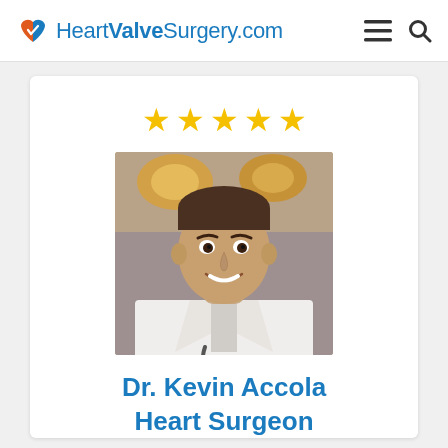HeartValveSurgery.com
[Figure (photo): Five yellow stars rating display]
[Figure (photo): Professional photo of Dr. Kevin Accola in a white coat with stethoscope, smiling in what appears to be an operating room with surgical lights behind him]
Dr. Kevin Accola
Heart Surgeon